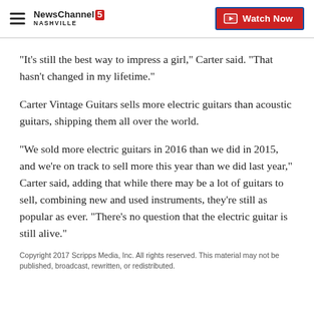NewsChannel 5 NASHVILLE | Watch Now
"It's still the best way to impress a girl," Carter said. "That hasn't changed in my lifetime."
Carter Vintage Guitars sells more electric guitars than acoustic guitars, shipping them all over the world.
"We sold more electric guitars in 2016 than we did in 2015, and we're on track to sell more this year than we did last year," Carter said, adding that while there may be a lot of guitars to sell, combining new and used instruments, they're still as popular as ever. "There's no question that the electric guitar is still alive."
Copyright 2017 Scripps Media, Inc. All rights reserved. This material may not be published, broadcast, rewritten, or redistributed.